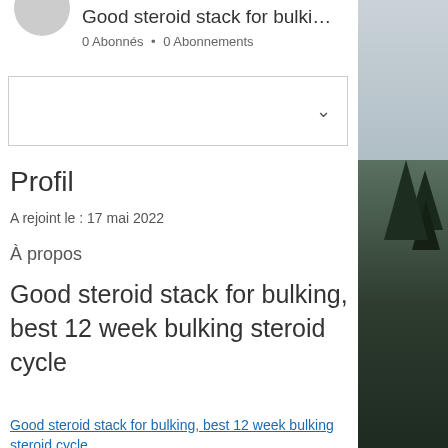Good steroid stack for bulki…
0 Abonnés • 0 Abonnements
Profil
A rejoint le : 17 mai 2022
À propos
Good steroid stack for bulking, best 12 week bulking steroid cycle
Good steroid stack for bulking, best 12 week bulking steroid cycle